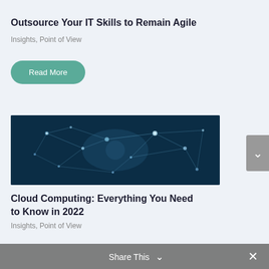Outsource Your IT Skills to Remain Agile
Insights, Point of View
Read More
[Figure (photo): Dark blue network connectivity background image with glowing node connections on deep teal/navy background.]
Cloud Computing: Everything You Need to Know in 2022
Insights, Point of View
Share This ×